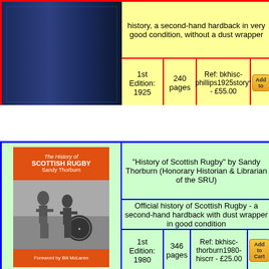[Figure (photo): Dark navy blue hardback book cover, no text visible]
history, a second-hand hardback in very good condition, without a dust wrapper
| Edition | Pages | Ref/Price | Action |
| --- | --- | --- | --- |
| 1st Edition: 1925 | 240 pages | Ref: bkhisc-phillips1925story* - £55.00 | Add to |
[Figure (photo): Book cover of 'The History of Scottish Rugby' by Sandy Thorburn, showing rugby players in action with thistle emblem]
"History of Scottish Rugby" by Sandy Thorburn (Honorary Historian & Librarian of the SRU)
Official history of Scottish Rugby - a second-hand hardback with dust wrapper in good condition
| Edition | Pages | Ref/Price | Action |
| --- | --- | --- | --- |
| 1st Edition: 1980 | 346 pages | Ref: bkhisc-thorburn1980-hiscrr - £25.00 | Add to Cart |